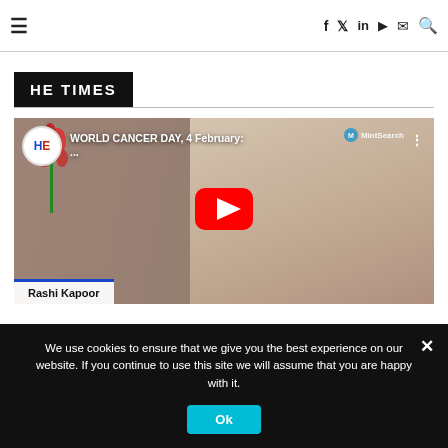≡  f  𝕏  in  ▶  ✉  🔍
HE TIMES
[Figure (screenshot): YouTube video thumbnail showing 'WORLD CANCER DAY, 4 February: ...' with HE logo, person named Rashi Kapoor, MintSearch branding, and YouTube play button]
We use cookies to ensure that we give you the best experience on our website. If you continue to use this site we will assume that you are happy with it.
Ok